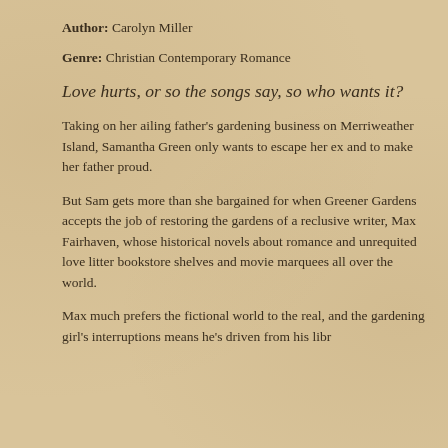Author: Carolyn Miller
Genre: Christian Contemporary Romance
Love hurts, or so the songs say, so who wants it?
Taking on her ailing father's gardening business on Merriweather Island, Samantha Green only wants to escape her ex and to make her father proud.
But Sam gets more than she bargained for when Greener Gardens accepts the job of restoring the gardens of a reclusive writer, Max Fairhaven, whose historical novels about romance and unrequited love litter bookstore shelves and movie marquees all over the world.
Max much prefers the fictional world to the real, and the gardening girl's interruptions means he's driven from his library.